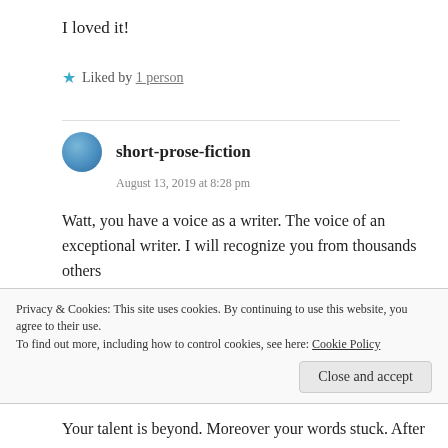I loved it!
★ Liked by 1 person
short-prose-fiction
August 13, 2019 at 8:28 pm
Watt, you have a voice as a writer. The voice of an exceptional writer. I will recognize you from thousands others
I acutely suspected at a certain moment that you were published under another name.
Privacy & Cookies: This site uses cookies. By continuing to use this website, you agree to their use.
To find out more, including how to control cookies, see here: Cookie Policy
Your talent is beyond. Moreover your words stuck. After